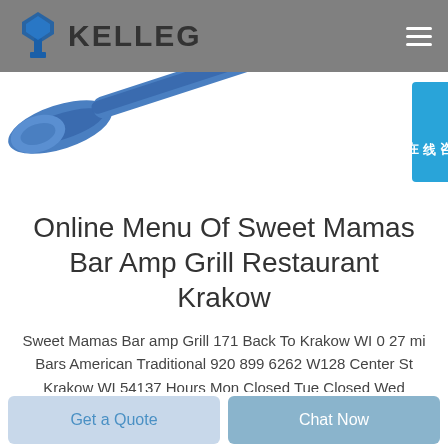[Figure (logo): KELLEG logo with blue tie/wrench icon and grey header bar with hamburger menu icon]
[Figure (photo): Partial view of a blue tool or product (appears to be a blue hex key or similar tool) against white background]
[Figure (other): Blue Chinese online chat widget badge on the right side with characters 在线咨询]
Online Menu Of Sweet Mamas Bar Amp Grill Restaurant Krakow
Sweet Mamas Bar amp Grill 171 Back To Krakow WI 0 27 mi Bars American Traditional 920 899 6262 W128 Center St Krakow WI 54137 Hours Mon Closed Tue Closed Wed Closed Thu 3 00pm 9
Get a Quote
Chat Now